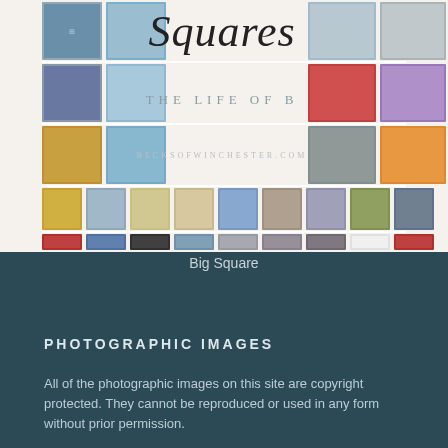[Figure (photo): A collage of square photographic images arranged in a grid on a white/cream background, with italic serif text 'Squares', subtitle 'THE LIFE OF B', and URL 'becksofwinchester.com' overlaid in the centre. Photos include cityscapes, beaches, clocks, cranes, birds, towers, flowers, and architectural subjects.]
Big Square
PHOTOGRAPHIC IMAGES
All of the photographic images on this site are copyright protected. They cannot be reproduced or used in any form without prior permission.